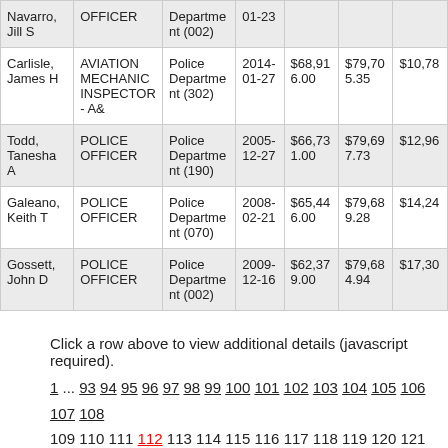| Name | Job Title | Department | Start Date | Base Pay | Total Pay | Overtime |
| --- | --- | --- | --- | --- | --- | --- |
| Navarro, Jill S | OFFICER | Department (002) | 01-23 |  |  |  |
| Carlisle, James H | AVIATION MECHANIC INSPECTOR- A& | Police Department (302) | 2014-01-27 | $68,916.00 | $79,705.35 | $10,78 |
| Todd, Tanesha A | POLICE OFFICER | Police Department (190) | 2005-12-27 | $66,731.00 | $79,697.73 | $12,96 |
| Galeano, Keith T | POLICE OFFICER | Police Department (070) | 2008-02-21 | $65,446.00 | $79,689.28 | $14,24 |
| Gossett, John D | POLICE OFFICER | Police Department (002) | 2009-12-16 | $62,379.00 | $79,684.94 | $17,30 |
Click a row above to view additional details (javascript required).
1 ... 93 94 95 96 97 98 99 100 101 102 103 104 105 106 107 108 109 110 111 112 113 114 115 116 117 118 119 120 121 122 123